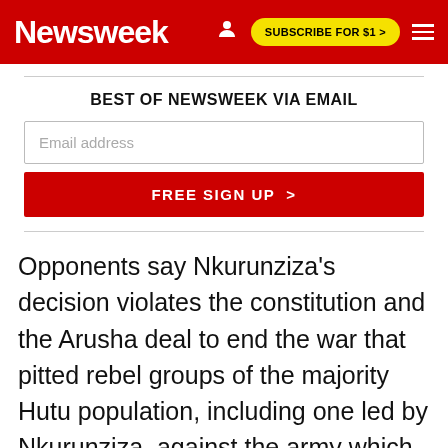Newsweek | SUBSCRIBE FOR $1 >
BEST OF NEWSWEEK VIA EMAIL
Email address
FREE SIGN UP >
Opponents say Nkurunziza's decision violates the constitution and the Arusha deal to end the war that pitted rebel groups of the majority Hutu population, including one led by Nkurunziza, against the army which was then commanded by minority Tutsis.